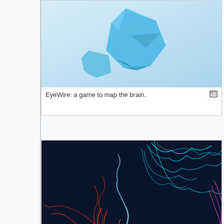[Figure (photo): 3D blue crystal/geometric shapes representing EyeWire game interface]
EyeWire: a game to map the brain.
[Figure (photo): Colorful neurons mapped by EyeWirers - showing red, orange, green, cyan, and pink neuron branches on dark background with EyeWire logo]
Neurons Mapped by EyeWirers
EyeWire is a game to map the brain from Sebastian Seung's Lab at MIT. This citizen science human-based computation game challenges players to map 3D neurons in a retina. Eyewire